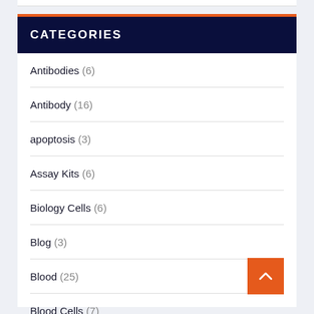CATEGORIES
Antibodies (6)
Antibody (16)
apoptosis (3)
Assay Kits (6)
Biology Cells (6)
Blog (3)
Blood (25)
Blood Cells (7)
cDNA (5)